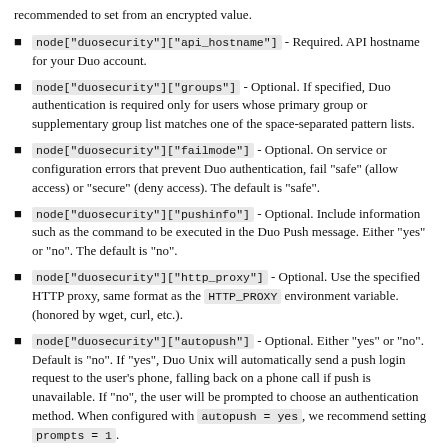recommended to set from an encrypted value.
node["duosecurity"]["api_hostname"] - Required. API hostname for your Duo account.
node["duosecurity"]["groups"] - Optional. If specified, Duo authentication is required only for users whose primary group or supplementary group list matches one of the space-separated pattern lists.
node["duosecurity"]["failmode"] - Optional. On service or configuration errors that prevent Duo authentication, fail "safe" (allow access) or "secure" (deny access). The default is "safe".
node["duosecurity"]["pushinfo"] - Optional. Include information such as the command to be executed in the Duo Push message. Either "yes" or "no". The default is "no".
node["duosecurity"]["http_proxy"] - Optional. Use the specified HTTP proxy, same format as the HTTP_PROXY environment variable. (honored by wget, curl, etc.).
node["duosecurity"]["autopush"] - Optional. Either "yes" or "no". Default is "no". If "yes", Duo Unix will automatically send a push login request to the user's phone, falling back on a phone call if push is unavailable. If "no", the user will be prompted to choose an authentication method. When configured with autopush = yes, we recommend setting prompts = 1.
node["duosecurity"]["motd"] - Optional. Print the contents of